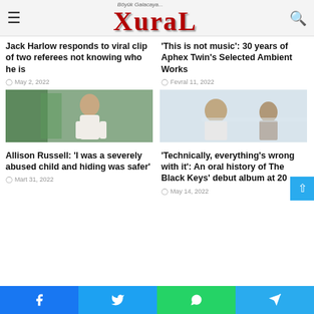XuraL — Böyük Galacaya...
Jack Harlow responds to viral clip of two referees not knowing who he is
May 2, 2022
'This is not music': 30 years of Aphex Twin's Selected Ambient Works
Fevral 11, 2022
[Figure (photo): Woman in white dress with plants in background]
[Figure (photo): Two men standing outdoors, one in a white t-shirt]
Allison Russell: 'I was a severely abused child and hiding was safer'
Mart 31, 2022
'Technically, everything's wrong with it': An oral history of The Black Keys' debut album at 20
May 14, 2022
Facebook | Twitter | WhatsApp | Telegram